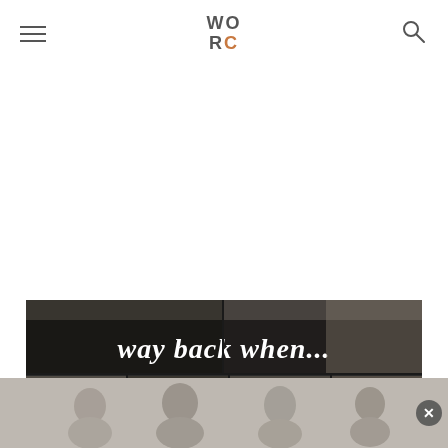WORC — navigation header with hamburger menu and search icon
[Figure (photo): Black and white photo collage with text overlay reading 'way back when...' in white serif font on dark semi-transparent background. Multiple panels showing outdoor/nature scenes and people.]
[Figure (photo): Bottom advertisement banner showing group of smiling people in a black and white photo, with a close/dismiss (X) button on the right side.]